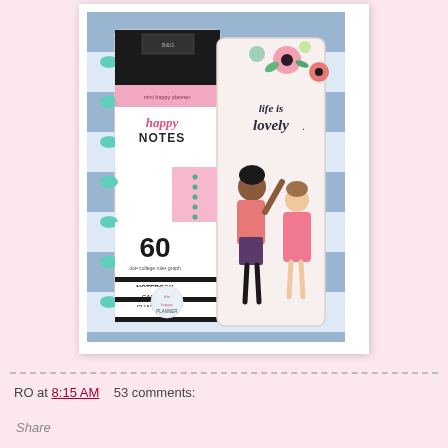[Figure (photo): Photo of two notebooks/planners on a blue and white striped background. Left notebook is a Happy Notes disc-bound planner with teal rings, pink pages, and black/white striped cover reading '60 NOTEBOOK CARNET CUADERNO'. Right is a hardcover journal with floral and illustrated girls design reading 'life is lovely'.]
RO at 8:15 AM    53 comments:
Share